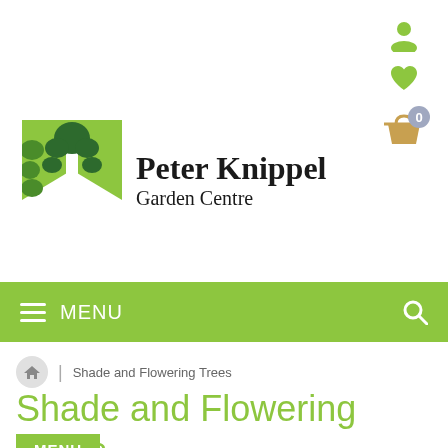[Figure (logo): Peter Knippel Garden Centre logo with green tree illustration and bold serif text]
MENU
Shade and Flowering Trees
Shade and Flowering Trees
MENU